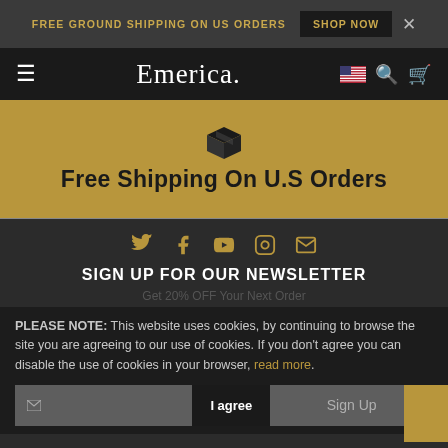FREE GROUND SHIPPING ON US ORDERS  SHOP NOW  ×
Emerica.
Free Shipping On U.S Orders
[Figure (infographic): Social media icons: Twitter, Facebook, YouTube, Instagram, Email]
SIGN UP FOR OUR NEWSLETTER
Get 20% OFF Your Next Order
PLEASE NOTE: This website uses cookies, by continuing to browse the site you are agreeing to our use of cookies. If you don't agree you can disable the use of cookies in your browser, read more.
Email*  Sign Up  I agree